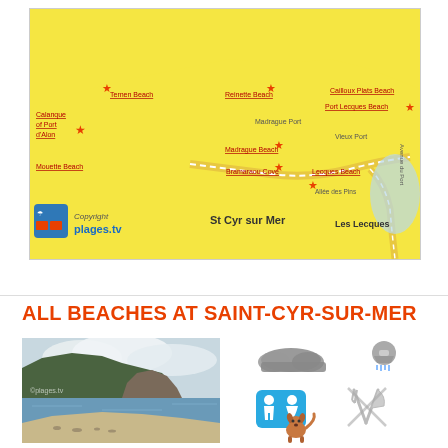[Figure (map): Map of Saint-Cyr-sur-Mer coastline showing beaches: Calanque of Port d'Alon, Mouette Beach, Ternen Beach, Reinette Beach, Cailloux Plats Beach, Port Lecques Beach, Madrague Port, Madrague Beach, Bramaraou Cove, Lecques Beach, Vieux Port, Les Lecques. Copyright plages.tv]
ALL BEACHES AT SAINT-CYR-SUR-MER
[Figure (photo): Coastal beach photo with rocky hillside, clear blue water, small cove with people on beach. Watermark: plages.tv]
[Figure (infographic): Beach amenity icons: clouds/overcast weather, shower facilities, toilets, restaurant/food (crossed out), dog allowed mascot]